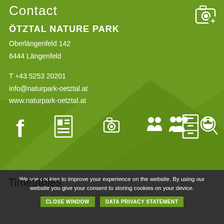Contact
ÖTZTAL NATURE PARK
Oberlängenfeld 142
6444 Längenfeld

T +43 5253 20201
info@naturpark-oetztal.at
www.naturpark-oetztal.at
[Figure (infographic): Row of 7 white social/contact icons on green background: Facebook, newspaper/list, camera, two people/meeting, filing cabinet, group of people, magnifying glass with person]
Timetables
We use cookies to improve your experience on the website. By using our website you give your consent to storing cookies on your device.
CLOSE WINDOW   DATA PRIVACY STATEMENT